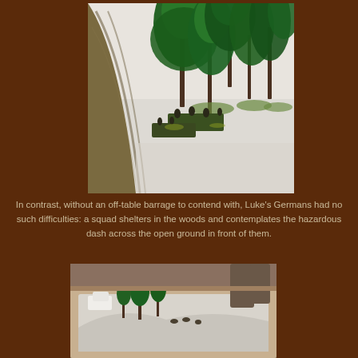[Figure (photo): Tabletop wargame miniatures scene showing German soldier figures sheltering among tall green model trees on a snow-covered terrain, with a curved muddy road track on the left side.]
In contrast, without an off-table barrage to contend with, Luke's Germans had no such difficulties: a squad shelters in the woods and contemplates the hazardous dash across the open ground in front of them.
[Figure (photo): Wide shot of a tabletop wargame setup on a table, showing a winter terrain with snow-covered ground, model trees, and miniature figurines, with chairs and room background visible.]